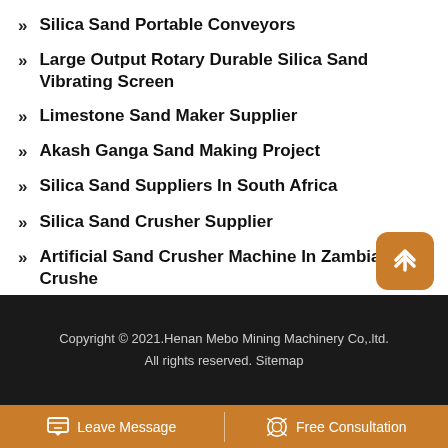» Silica Sand Portable Conveyors
» Large Output Rotary Durable Silica Sand Vibrating Screen
» Limestone Sand Maker Supplier
» Akash Ganga Sand Making Project
» Silica Sand Suppliers In South Africa
» Silica Sand Crusher Supplier
» Artificial Sand Crusher Machine In Zambia Vsi Crushe
Copyright © 2021.Henan Mebo Mining Machinery Co,.ltd. All rights reserved. Sitemap
Leave Message   Free Consultation